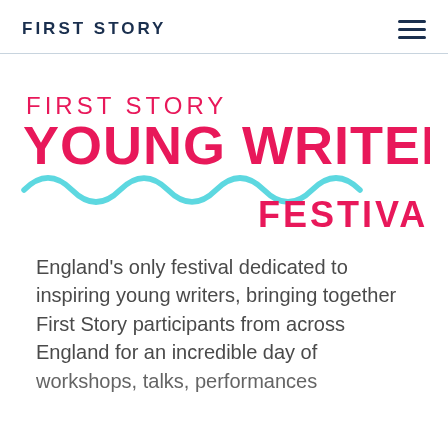FIRST STORY
[Figure (logo): First Story Young Writers Festival logo with pink/magenta text and teal wavy line decoration]
England's only festival dedicated to inspiring young writers, bringing together First Story participants from across England for an incredible day of workshops, talks, performances